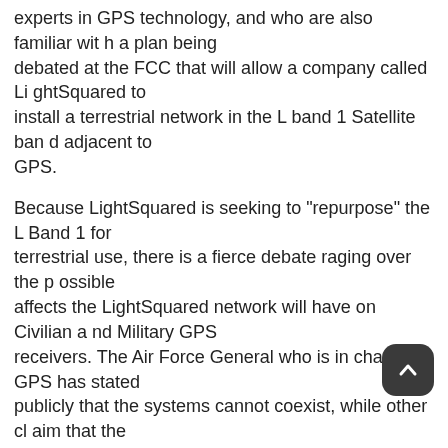experts in GPS technology, and who are also familiar with a plan being debated at the FCC that will allow a company called LightSquared to install a terrestrial network in the L band 1 Satellite band adjacent to GPS.
Because LightSquared is seeking to "repurpose" the L Band 1 for terrestrial use, there is a fierce debate raging over the possible affects the LightSquared network will have on Civilian and Military GPS receivers. The Air Force General who is in charge of GPS has stated publicly that the systems cannot coexist, while other claim that the interference claims are overblown and that they're being made by companies that stand to benefit by limiting competition in the cellular data space, or by companies making cheap GPS receivers who don't want to